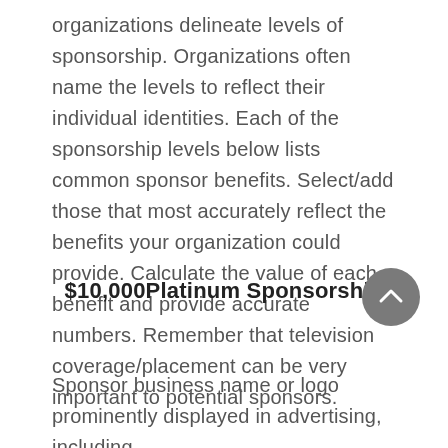organizations delineate levels of sponsorship. Organizations often name the levels to reflect their individual identities. Each of the sponsorship levels below lists common sponsor benefits. Select/add those that most accurately reflect the benefits your organization could provide. Calculate the value of each benefit and provide accurate numbers. Remember that television coverage/placement can be very important to potential sponsors.
$10,000Platinum Sponsorship
Sponsor business name or logo prominently displayed in advertising, including